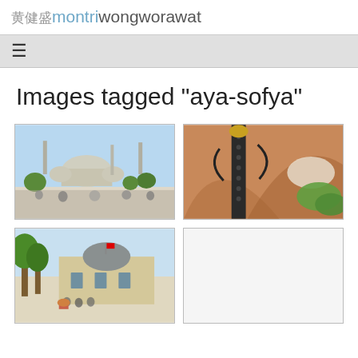黄健盛montriwongworawat
Images tagged "aya-sofya"
[Figure (photo): Wide exterior view of Hagia Sophia (Aya Sofya) in Istanbul with crowds of people in the foreground and blue sky above.]
[Figure (photo): Close-up of ornate Ottoman-style lamp post with Hagia Sofya dome and brick archways visible in the background.]
[Figure (photo): Street-level view of a domed building near Aya Sofya area with green trees and a crowd of people outside.]
[Figure (photo): Blank/loading image placeholder (white box).]